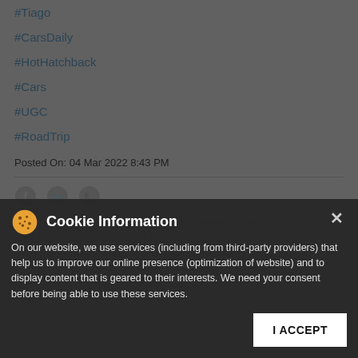#TotalMotorsPassengerVehicles
#Tiago
#CarsDaily
#HotHatchback
#Cars
#UGC
#RoadTrip
Posted On: 04 Mar 2022 8:43 PM
[Figure (screenshot): Social share icons: Facebook, Twitter, WhatsApp]
Cookie Information
On our website, we use services (including from third-party providers) that help us to improve our online presence (optimization of website) and to display content that is geared to their interests. We need your consent before being able to use these services.
I ACCEPT
#Safari
#UGC